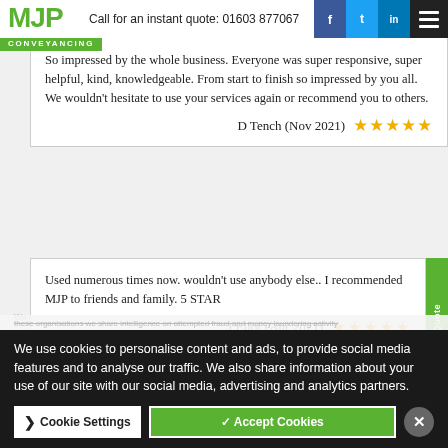Call for an instant quote: 01603 877067
So impressed by the whole business. Everyone was super responsive, super helpful, kind, knowledgeable. From start to finish so impressed by you all. We wouldn't hesitate to use your services again or recommend you to others. D Tench (Nov 2021) ★★★★★
CONVEYANCING
Used numerous times now. wouldn't use anybody else.. I recommended MJP to friends and family. 5 STAR J Ellor (Apr 2021) ★★★★★
Request a Quote
We operate with full and proactive measures to detect and so...
We use cookies to personalise content and ads, to provide social media features and to analyse our traffic. We also share information about your use of our site with our social media, advertising and analytics partners.
these organisations we share intelligence on attempted fraud and money laundering activity
Cookie Settings
✓ Accept Cookies